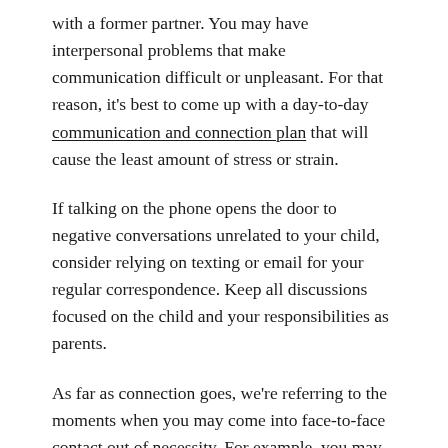with a former partner. You may have interpersonal problems that make communication difficult or unpleasant. For that reason, it's best to come up with a day-to-day communication and connection plan that will cause the least amount of stress or strain.
If talking on the phone opens the door to negative conversations unrelated to your child, consider relying on texting or email for your regular correspondence. Keep all discussions focused on the child and your responsibilities as parents.
As far as connection goes, we're referring to the moments when you may come into face-to-face contact out of necessity. For example, you may both be present for drop-offs, doctors' appointments, and parent-teacher conferences. You may want to establish ground rules in advance.